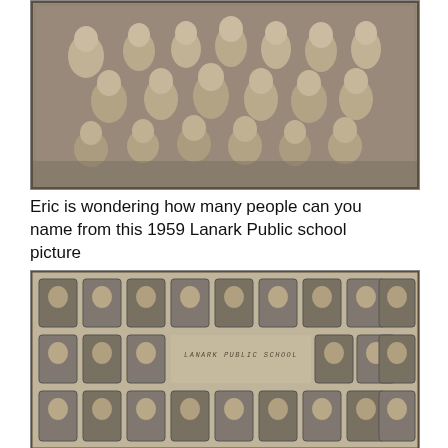[Figure (photo): Black and white group photo of school children, approximately 20-25 students arranged in rows outdoors, 1959 Lanark Public School class photo.]
Eric is wondering how many people can you name from this 1959 Lanark Public school picture
[Figure (photo): Black and white composite school portrait photo showing individual headshots of students arranged in rows, with 'LANARK PUBLIC SCHOOL' text in the center.]